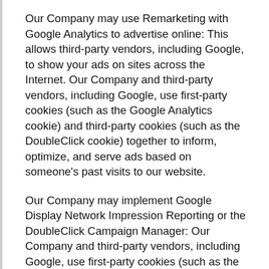Our Company may use Remarketing with Google Analytics to advertise online: This allows third-party vendors, including Google, to show your ads on sites across the Internet. Our Company and third-party vendors, including Google, use first-party cookies (such as the Google Analytics cookie) and third-party cookies (such as the DoubleClick cookie) together to inform, optimize, and serve ads based on someone's past visits to our website.
Our Company may implement Google Display Network Impression Reporting or the DoubleClick Campaign Manager: Our Company and third-party vendors, including Google, use first-party cookies (such as the Google Analytics cookies) and third-party cookies (such as the DoubleClick cookie) together to report how your ad impressions, other uses of ad services, and